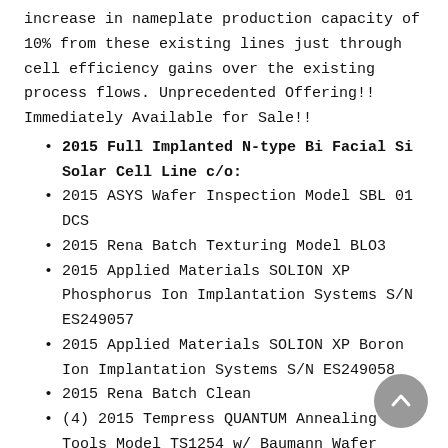increase in nameplate production capacity of 10% from these existing lines just through cell efficiency gains over the existing process flows. Unprecedented Offering!! Immediately Available for Sale!!
2015 Full Implanted N-type Bi Facial Si Solar Cell Line c/o:
2015 ASYS Wafer Inspection Model SBL 01 DCS
2015 Rena Batch Texturing Model BLO3
2015 Applied Materials SOLION XP Phosphorus Ion Implantation Systems S/N ES249057
2015 Applied Materials SOLION XP Boron Ion Implantation Systems S/N ES249058
2015 Rena Batch Clean
(4) 2015 Tempress QUANTUM Annealing Tools Model TS1254 w/ Baumann Wafer Handling